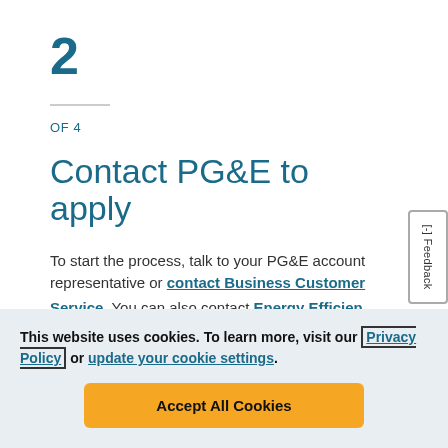2
OF 4
Contact PG&E to apply
To start the process, talk to your PG&E account representative or contact Business Customer Service. You can also contact Energy Efficien...
This website uses cookies. To learn more, visit our Privacy Policy or update your cookie settings.
Accept All Cookies